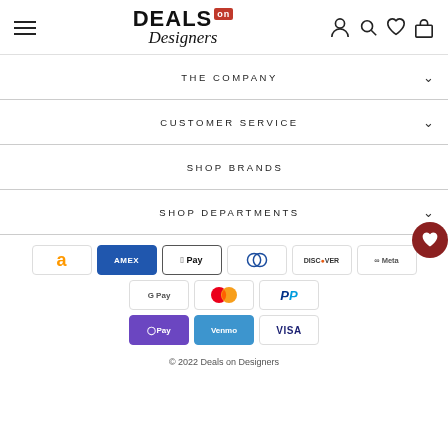Deals on Designers — navigation header with hamburger menu, logo, and icons
THE COMPANY
CUSTOMER SERVICE
SHOP BRANDS
SHOP DEPARTMENTS
[Figure (logo): Payment method icons: Amazon, Amex, Apple Pay, Diners Club, Discover, Meta Pay, Google Pay, Mastercard, PayPal, OPay, Venmo, Visa]
© 2022 Deals on Designers